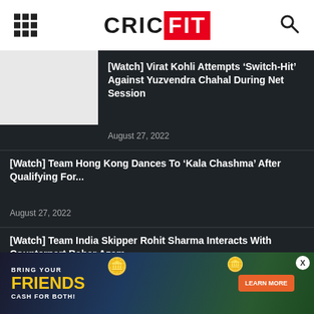CRICFIT
[Watch] Virat Kohli Attempts ‘Switch-Hit’ Against Yuzvendra Chahal During Net Session
August 27, 2022
[Watch] Team Hong Kong Dances To ‘Kala Chashma’ After Qualifying For…
August 27, 2022
[Watch] Team India Skipper Rohit Sharma Interacts With Counterpart Babar Azam…
August 27, 2022
[Figure (infographic): Advertisement banner: BRING YOUR FRIENDS CASH FOR BOTH with Learn More button and coin graphics]